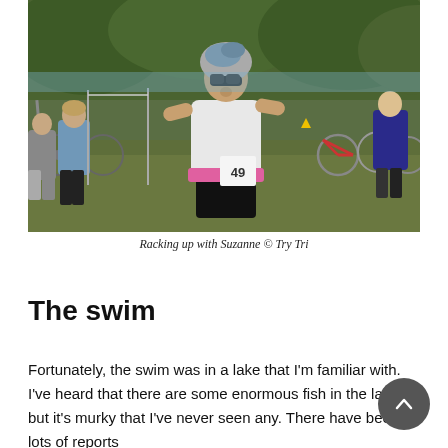[Figure (photo): Outdoor triathlon transition area with cyclists and competitors. A man in a white sleeveless jersey, sunglasses, and a cycling helmet (number 49) adjusts his gear among rows of bicycles. Other athletes and spectators are visible in the background with trees and a lake.]
Racking up with Suzanne © Try Tri
The swim
Fortunately, the swim was in a lake that I'm familiar with. I've heard that there are some enormous fish in the lake, but it's murky that I've never seen any. There have been lots of reports...